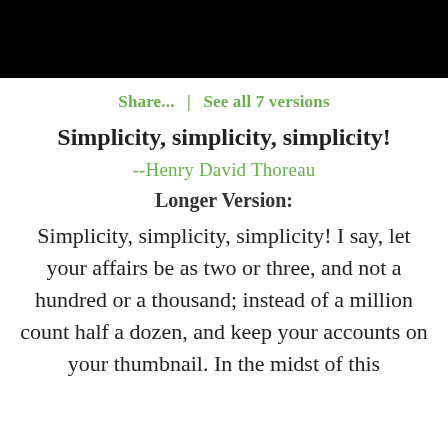[Figure (photo): Black bar at top of page]
Share...  |  See all 7 versions
Simplicity, simplicity, simplicity!
--Henry David Thoreau
Longer Version:
Simplicity, simplicity, simplicity! I say, let your affairs be as two or three, and not a hundred or a thousand; instead of a million count half a dozen, and keep your accounts on your thumbnail. In the midst of this